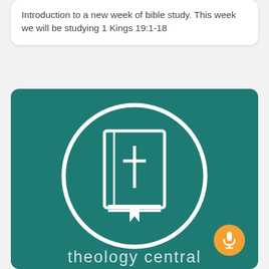Introduction to a new week of bible study. This week we will be studying 1 Kings 19:1-18
[Figure (logo): Theology Central podcast logo: teal/dark green square with rounded corners containing a white circle outline enclosing a white line-art Bible icon with a cross, and the text 'theology central' at the bottom. An orange microphone button overlaid at lower right.]